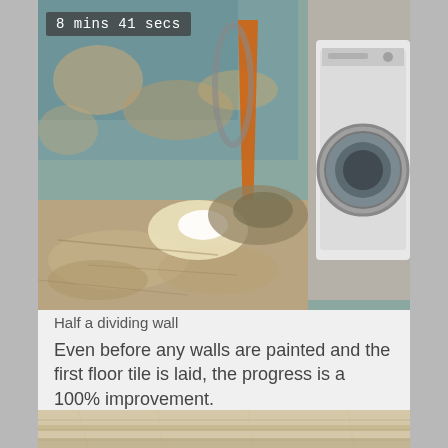[Figure (photo): Interior room under renovation showing bare concrete/mud floor, damaged blue-painted walls with peeling plaster, an orange object leaning in the corner, and a white washing machine on the right side. A bright light source illuminates the floor.]
Half a dividing wall
Even before any walls are painted and the first floor tile is laid, the progress is a 100% improvement.
[Figure (photo): Close-up of fresh light-coloured pine/wood timber planks or boards arranged horizontally, showing new construction or flooring work in progress.]